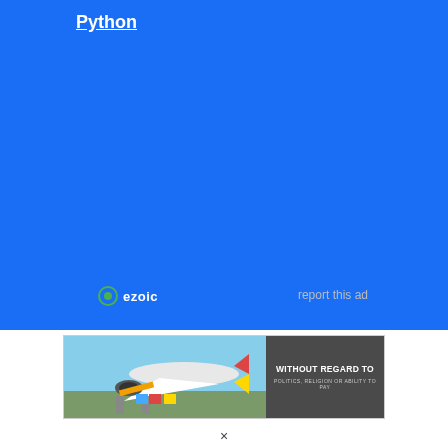Python
[Figure (other): Blue advertisement background with Ezoic branding and 'report this ad' text]
[Figure (photo): Advertisement banner showing an airplane being loaded with cargo, with text 'WITHOUT REGARD TO POLITICS, RELIGION OR ABILITY TO PAY']
×